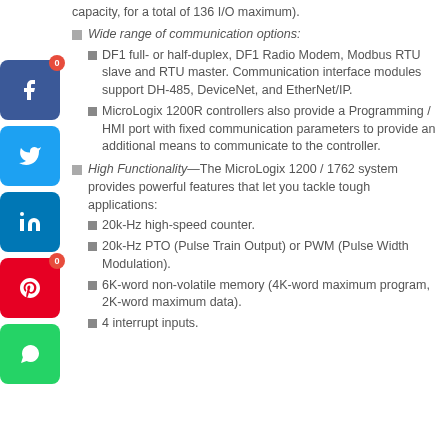capacity, for a total of 136 I/O maximum).
Wide range of communication options:
DF1 full- or half-duplex, DF1 Radio Modem, Modbus RTU slave and RTU master. Communication interface modules support DH-485, DeviceNet, and EtherNet/IP.
MicroLogix 1200R controllers also provide a Programming / HMI port with fixed communication parameters to provide an additional means to communicate to the controller.
High Functionality—The MicroLogix 1200 / 1762 system provides powerful features that let you tackle tough applications:
20k-Hz high-speed counter.
20k-Hz PTO (Pulse Train Output) or PWM (Pulse Width Modulation).
6K-word non-volatile memory (4K-word maximum program, 2K-word maximum data).
4 interrupt inputs.